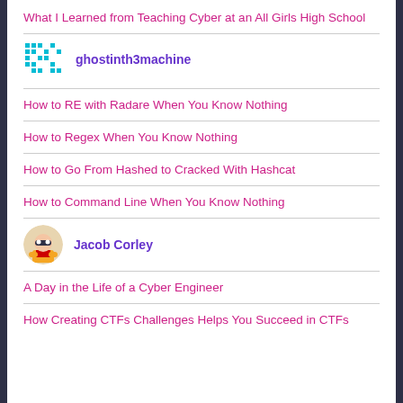What I Learned from Teaching Cyber at an All Girls High School
[Figure (illustration): Pixel avatar icon for user ghostinth3machine — cyan/teal colored pixel art pattern]
ghostinth3machine
How to RE with Radare When You Know Nothing
How to Regex When You Know Nothing
How to Go From Hashed to Cracked With Hashcat
How to Command Line When You Know Nothing
[Figure (illustration): Cartoon avatar of Jacob Corley — superhero style illustration with mask]
Jacob Corley
A Day in the Life of a Cyber Engineer
How Creating CTFs Challenges Helps You Succeed in CTFs